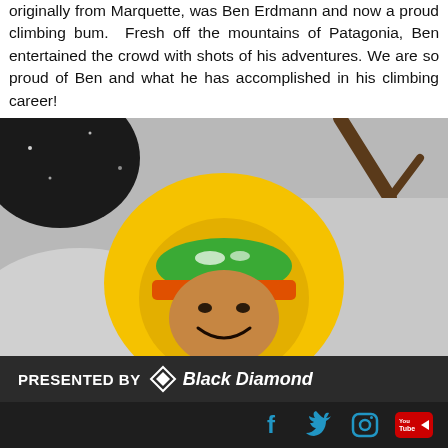originally from Marquette, was Ben Erdmann and now a proud climbing bum. Fresh off the mountains of Patagonia, Ben entertained the crowd with shots of his adventures. We are so proud of Ben and what he has accomplished in his climbing career!
[Figure (photo): Close-up photo of a person wearing a bright yellow puffer jacket hood over a green and orange climbing helmet, smiling. Background is snowy and mostly black and white with a branch visible.]
PRESENTED BY Black Diamond